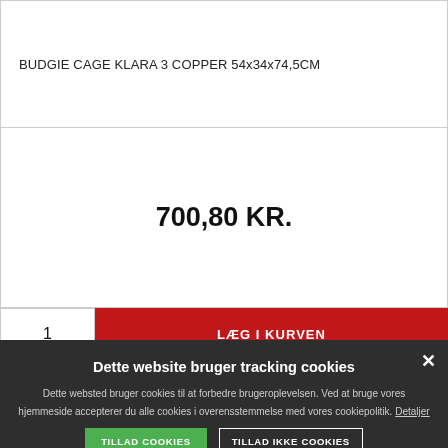BUDGIE CAGE KLARA 3 COPPER 54x34x74,5CM
700,80 KR.
1
LÆG I KURVEN
Dette website bruger tracking cookies
Dette websted bruger cookies til at forbedre brugeroplevelsen. Ved at bruge vores hjemmeside accepterer du alle cookies i overensstemmelse med vores cookiepolitik. Detaljer
TILLAD COOKIES
TILLAD IKKE COOKIES
VIS DETALJER
POWERED BY COOKIE-SCRIPT